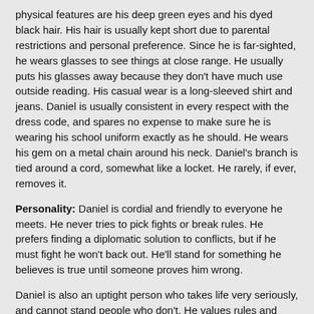physical features are his deep green eyes and his dyed black hair. His hair is usually kept short due to parental restrictions and personal preference. Since he is far-sighted, he wears glasses to see things at close range. He usually puts his glasses away because they don't have much use outside reading. His casual wear is a long-sleeved shirt and jeans. Daniel is usually consistent in every respect with the dress code, and spares no expense to make sure he is wearing his school uniform exactly as he should. He wears his gem on a metal chain around his neck. Daniel's branch is tied around a cord, somewhat like a locket. He rarely, if ever, removes it.
Personality: Daniel is cordial and friendly to everyone he meets. He never tries to pick fights or break rules. He prefers finding a diplomatic solution to conflicts, but if he must fight he won't back out. He'll stand for something he believes is true until someone proves him wrong.
Daniel is also an uptight person who takes life very seriously, and cannot stand people who don't. He values rules and order in general, and works hard in everything he does. Daniel's good nature prevents him from lying for long, even if it's for a good reason.
He is a devout Catholic, but usually won't argue about religion with